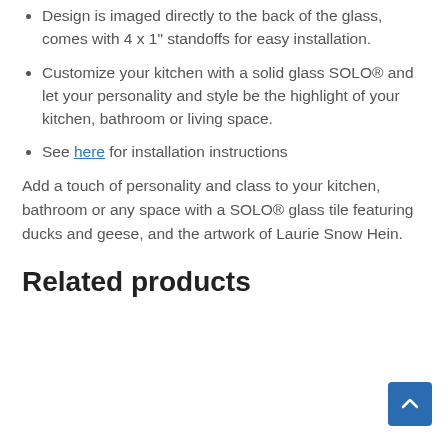Design is imaged directly to the back of the glass, comes with 4 x 1" standoffs for easy installation.
Customize your kitchen with a solid glass SOLO® and let your personality and style be the highlight of your kitchen, bathroom or living space.
See here for installation instructions
Add a touch of personality and class to your kitchen, bathroom or any space with a SOLO® glass tile featuring ducks and geese, and the artwork of Laurie Snow Hein.
Related products